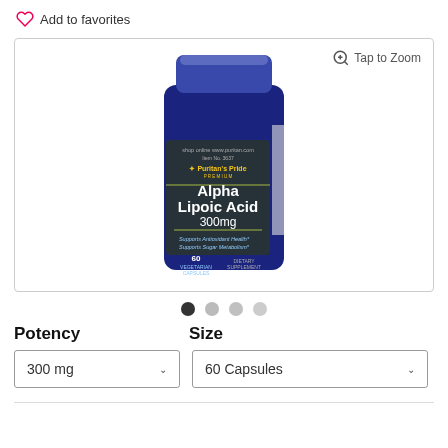Add to favorites
[Figure (photo): Blue bottle of Puritan's Pride Alpha Lipoic Acid 300mg, 60 Capsules dietary supplement with a magnifying glass tap-to-zoom icon in top right]
Potency
Size
300 mg
60 Capsules